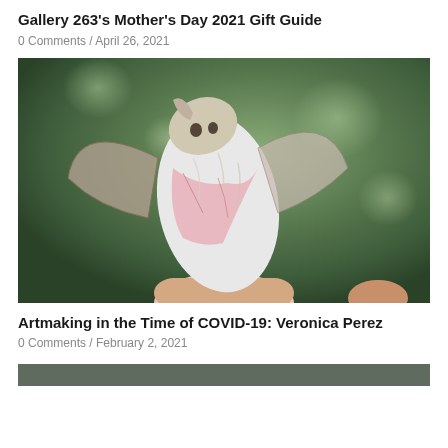Gallery 263's Mother's Day 2021 Gift Guide
0 Comments / April 26, 2021
[Figure (photo): Close-up photograph of a small bat being held in a human hand against a green blurred background. The bat's wings are spread and its pink membrane and white/cream fur are visible.]
Artmaking in the Time of COVID-19: Veronica Perez
0 Comments / February 2, 2021
[Figure (photo): Partial view of another image at the bottom of the page, cropped off.]